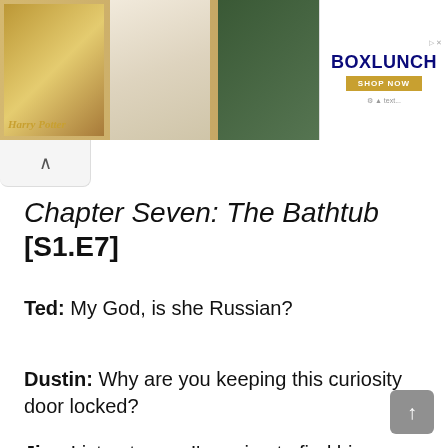[Figure (screenshot): Advertisement banner for BoxLunch featuring Harry Potter themed merchandise — pajamas, green sweater. BoxLunch logo in navy/gold on right side with 'SHOP NOW' button.]
Chapter Seven: The Bathtub [S1.E7]
Ted: My God, is she Russian?
Dustin: Why are you keeping this curiosity door locked?
Jim: Listen to me: I'm going to find him